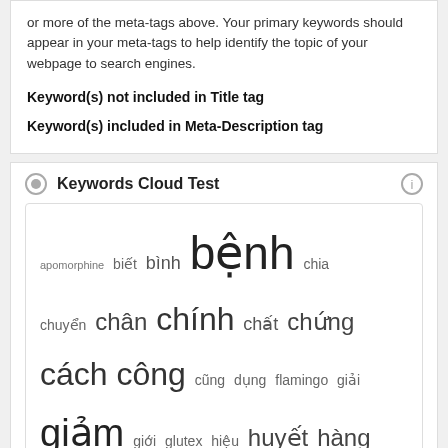or more of the meta-tags above. Your primary keywords should appear in your meta-tags to help identify the topic of your webpage to search engines.
Keyword(s) not included in Title tag
Keyword(s) included in Meta-Description tag
Keywords Cloud Test
[Figure (other): Word cloud showing Vietnamese and English keywords in varying font sizes: apomorphine, biết, bình, bệnh, chia, chuyển, chân, chính, chất, chứng, cách, công, cũng, dụng, flamingo, giải, giảm, giới, glutex, hiệu, huyết, hàng, icodec, insulin, khang, không, kiện, liên, liệu, loạn, lượng, mang, menu, mạch, nghiệm, nghĩ, nghẽn, nguyên, ngày, người]